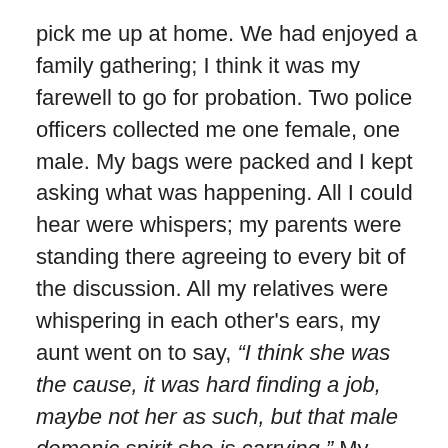pick me up at home. We had enjoyed a family gathering; I think it was my farewell to go for probation. Two police officers collected me one female, one male. My bags were packed and I kept asking what was happening. All I could hear were whispers; my parents were standing there agreeing to every bit of the discussion. All my relatives were whispering in each other's ears, my aunt went on to say, “I think she was the cause, it was hard finding a job, maybe not her as such, but that male demonic spirit she is carrying.” My uncle responded by saying, “to even think she received the Holy Communion in the mass celebration.” My cousin chopped him off with an interesting statement; “I think she was taking the holy body of Christ to their temple for their devil sacrifice.” All these whispers were audible, I started questioning myself if there was even any meaning to what they were saying I was only 14